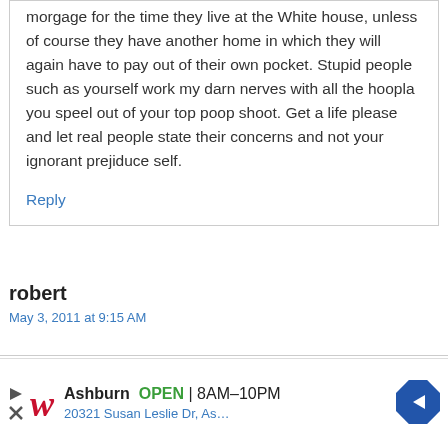morgage for the time they live at the White house, unless of course they have another home in which they will again have to pay out of their own pocket. Stupid people such as yourself work my darn nerves with all the hoopla you speel out of your top poop shoot. Get a life please and let real people state their concerns and not your ignorant prejiduce self.
Reply
robert
May 3, 2011 at 9:15 AM
[Figure (other): Walgreens advertisement banner: Ashburn OPEN 8AM-10PM, 20321 Susan Leslie Dr, As...]